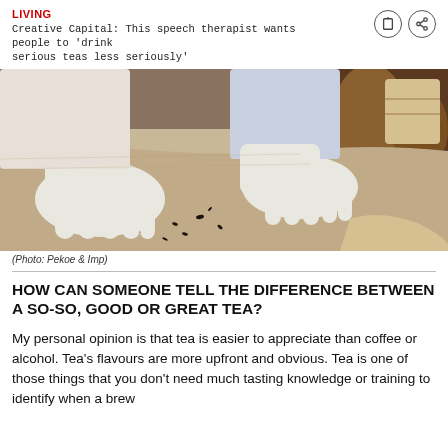LIVING
Creative Capital: This speech therapist wants people to 'drink serious teas less seriously'
[Figure (photo): Person wearing white gloves handling loose tea leaves on a burlap surface, with wooden containers visible in the background.]
(Photo: Pekoe & Imp)
HOW CAN SOMEONE TELL THE DIFFERENCE BETWEEN A SO-SO, GOOD OR GREAT TEA?
My personal opinion is that tea is easier to appreciate than coffee or alcohol. Tea's flavours are more upfront and obvious. Tea is one of those things that you don't need much tasting knowledge or training to identify when a brew